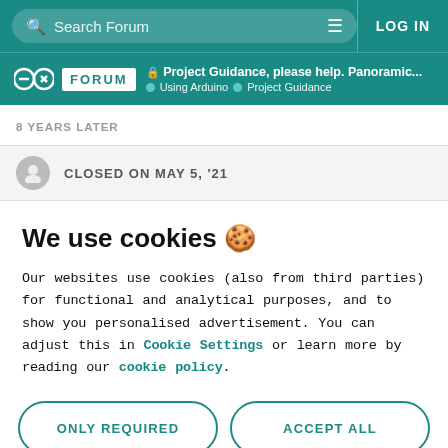Search Forum | LOG IN
🔒 Project Guidance, please help. Panoramic... | Using Arduino > Project Guidance
8 YEARS LATER
CLOSED ON MAY 5, '21
We use cookies 🍪
Our websites use cookies (also from third parties) for functional and analytical purposes, and to show you personalised advertisement. You can adjust this in Cookie Settings or learn more by reading our cookie policy.
ONLY REQUIRED
ACCEPT ALL